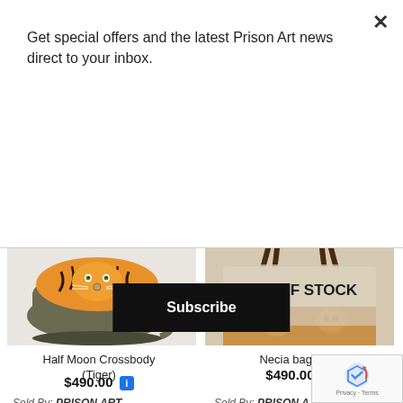Get special offers and the latest Prison Art news direct to your inbox.
Subscribe
[Figure (photo): Half Moon Crossbody bag with tiger face artwork painted on the flap, olive/gray leather]
Half Moon Crossbody (Tiger)
$490.00
Sold By: PRISON ART International
[Figure (photo): Necia tote bag with skull artwork, shown with OUT OF STOCK overlay]
Necia bag (Cat)
$490.00
Sold By: PRISON A International